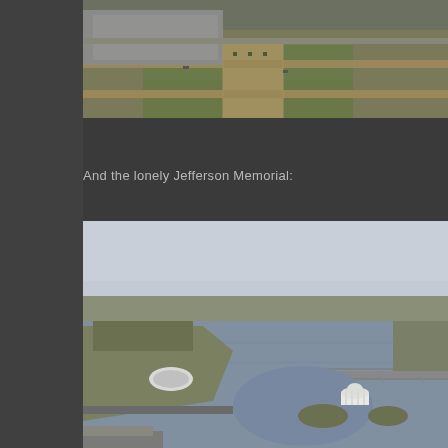[Figure (photo): Aerial view of Washington DC National Mall area showing buildings, paths and green spaces from above]
And the lonely Jefferson Memorial:
[Figure (photo): Aerial view of the Jefferson Memorial on the Tidal Basin with the Potomac River and a bridge visible in the background]